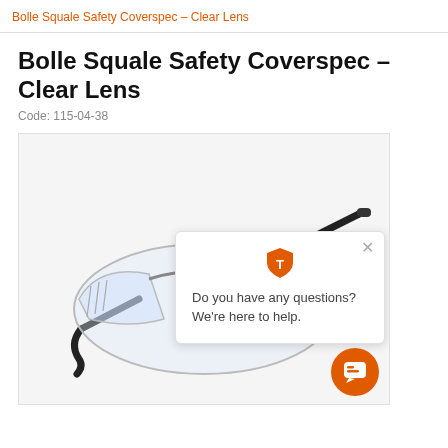Bolle Squale Safety Coverspec – Clear Lens
Bolle Squale Safety Coverspec – Clear Lens
Code: 115-04-38
[Figure (photo): Bolle Squale safety coverspec glasses with clear lens, shown at an angle. Black temple arms and clear polycarbonate lens with side shields. A chat popup overlay reads 'Do you have any questions? We're here to help.' with an orange shield logo and close button. An orange chat bubble button is visible in the bottom right corner.]